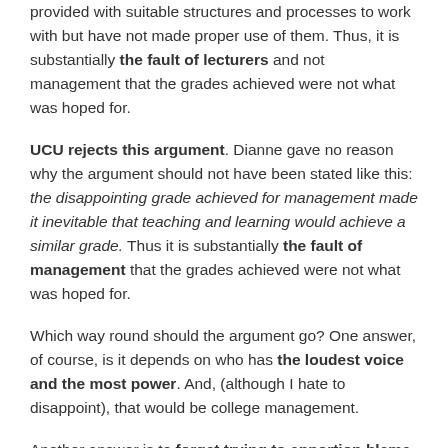provided with suitable structures and processes to work with but have not made proper use of them. Thus, it is substantially the fault of lecturers and not management that the grades achieved were not what was hoped for.
UCU rejects this argument. Dianne gave no reason why the argument should not have been stated like this: the disappointing grade achieved for management made it inevitable that teaching and learning would achieve a similar grade. Thus it is substantially the fault of management that the grades achieved were not what was hoped for.
Which way round should the argument go? One answer, of course, is it depends on who has the loudest voice and the most power. And, (although I hate to disappoint), that would be college management.
Another answer is to forget trying to apportion blame and to look carefully and thoughtfully at what's